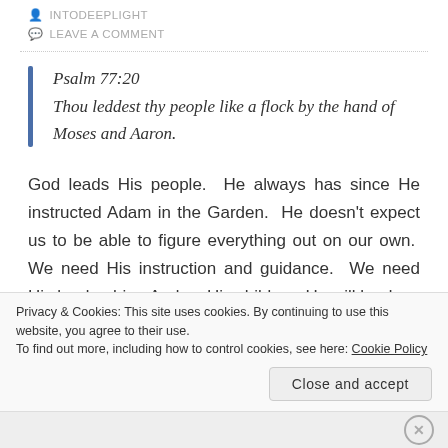INTODEEPLIGHT
LEAVE A COMMENT
Psalm 77:20
Thou leddest thy people like a flock by the hand of Moses and Aaron.
God leads His people. He always has since He instructed Adam in the Garden. He doesn't expect us to be able to figure everything out on our own. We need His instruction and guidance. We need His leadership. And as His children, He will lead us, but
Privacy & Cookies: This site uses cookies. By continuing to use this website, you agree to their use.
To find out more, including how to control cookies, see here: Cookie Policy
Close and accept